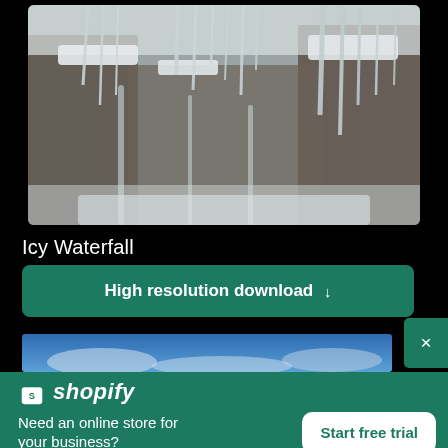[Figure (photo): Icy waterfall with icicles hanging from rocky cliff face covered in snow and ice, winter nature scene]
Icy Waterfall
High resolution download ↓
[Figure (photo): Partial view of a second image showing blue sky with clouds]
×
[Figure (logo): Shopify logo — shopping bag icon with letter S, followed by italic text 'shopify']
Need an online store for your business?
Start free trial